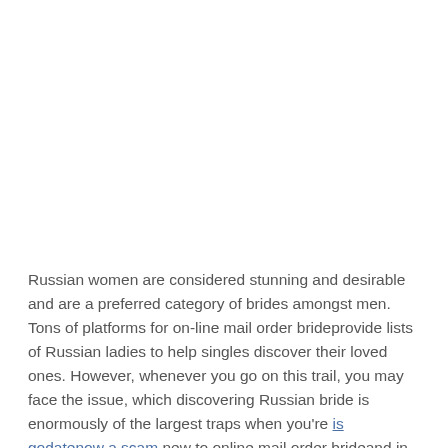Russian women are considered stunning and desirable and are a preferred category of brides amongst men. Tons of platforms for on-line mail order brideprovide lists of Russian ladies to help singles discover their loved ones. However, whenever you go on this trail, you may face the issue, which discovering Russian bride is enormously of the largest traps when you're is godatenow a scam new to online mail order brideand in search of a Russian bride is that a number of the